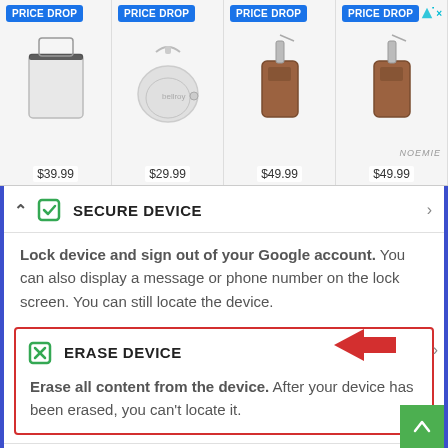[Figure (screenshot): Ad banner showing four bags with PRICE DROP badges and prices: $39.99, $29.99, $49.99, $49.99, with a Noemie branding on the rightmost partial item.]
SECURE DEVICE
Lock device and sign out of your Google account. You can also display a message or phone number on the lock screen. You can still locate the device.
ERASE DEVICE
Erase all content from the device. After your device has been erased, you can't locate it.
May require sign-in